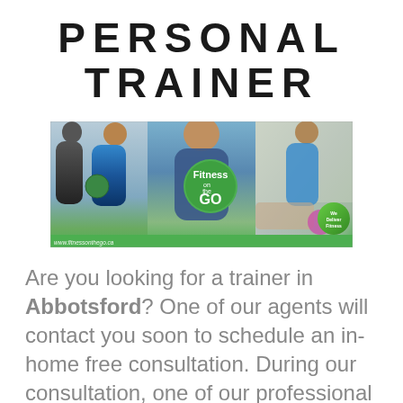PERSONAL TRAINER
[Figure (photo): Fitness on the GO banner image showing personal trainers working with clients outdoors and indoors, with the Fitness on the GO logo and URL www.fitnessonthego.ca]
Are you looking for a trainer in Abbotsford? One of our agents will contact you soon to schedule an in-home free consultation. During our consultation, one of our professional personal trainers will come to your